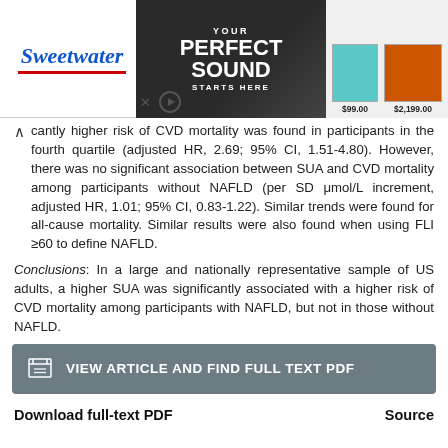[Figure (screenshot): Sweetwater advertisement banner: 'YOUR PERFECT SOUND STARTS HERE' with product images showing items at $99.00 and $2,199.00]
cantly higher risk of CVD mortality was found in participants in the fourth quartile (adjusted HR, 2.69; 95% CI, 1.51-4.80). However, there was no significant association between SUA and CVD mortality among participants without NAFLD (per SD μmol/L increment, adjusted HR, 1.01; 95% CI, 0.83-1.22). Similar trends were found for all-cause mortality. Similar results were also found when using FLI ≥60 to define NAFLD.
Conclusions: In a large and nationally representative sample of US adults, a higher SUA was significantly associated with a higher risk of CVD mortality among participants with NAFLD, but not in those without NAFLD.
VIEW ARTICLE AND FIND FULL TEXT PDF
Download full-text PDF
Source